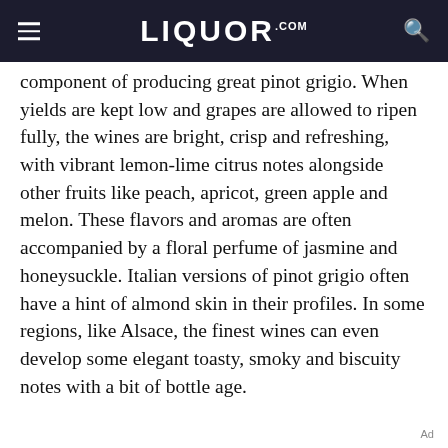LIQUOR.COM
component of producing great pinot grigio. When yields are kept low and grapes are allowed to ripen fully, the wines are bright, crisp and refreshing, with vibrant lemon-lime citrus notes alongside other fruits like peach, apricot, green apple and melon. These flavors and aromas are often accompanied by a floral perfume of jasmine and honeysuckle. Italian versions of pinot grigio often have a hint of almond skin in their profiles. In some regions, like Alsace, the finest wines can even develop some elegant toasty, smoky and biscuity notes with a bit of bottle age.
Ad